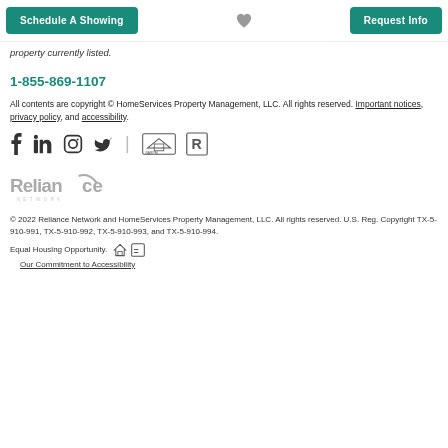Schedule A Showing | [heart icon] | Request Info
property currently listed.
1-855-869-1107
All contents are copyright © HomeServices Property Management, LLC. All rights reserved. Important notices, privacy policy, and accessibility.
[Figure (other): Social media icons: Facebook, LinkedIn, Instagram, Twitter, vertical divider, NARPM logo, Realtor logo]
[Figure (logo): Reliance Network logo in gray with stylized Z]
© 2022 Reliance Network and HomeServices Property Management, LLC. All rights reserved. U.S. Reg. Copyright TX-5-910-991, TX-5-910-992, TX-5-910-993, and TX-5-910-994.
Equal Housing Opportunity. [house icon] [equal housing icon]
Our Commitment to Accessibility